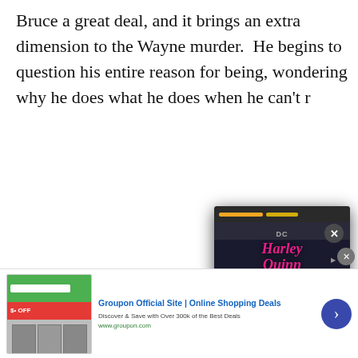Bruce a great deal, and it brings an extra dimension to the Wayne murder. He begins to question his entire reason for being, wondering why he does what he does when he can't r...
[Figure (screenshot): Amazon rainforest advertisement banner: 'Just $2 can p... the Amazon...']
[Figure (screenshot): Harley Quinn video/ad overlay popup with DC branding, progress bar, close button, and play arrow button]
In the middle of... approached by... request: "stop m...
[Figure (screenshot): Groupon Official Site advertisement: 'Groupon Official Site | Online Shopping Deals - Discover & Save with Over 300k of the Best Deals - www.groupon.com' with blue arrow button]